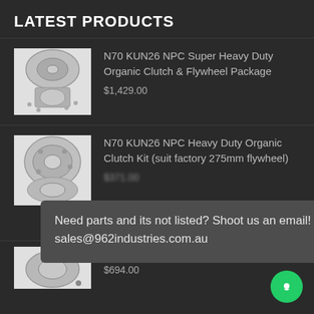LATEST PRODUCTS
[Figure (photo): Clutch and flywheel package product photo, silver mechanical components on white background]
N70 KUN26 NPC Super Heavy Duty Organic Clutch & Flywheel Package
$1,429.00
[Figure (photo): Heavy duty organic clutch kit product photo, silver clutch components on white background]
N70 KUN26 NPC Heavy Duty Organic Clutch Kit (suit factory 275mm flywheel)
$371.00
Need parts and its not listed? Shoot us an email!
sales@962industries.com.au
[Figure (photo): Partial view of another clutch product on white background]
...nic Clutch
$694.00